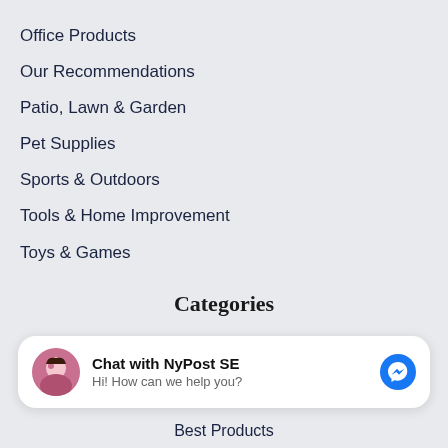Office Products
Our Recommendations
Patio, Lawn & Garden
Pet Supplies
Sports & Outdoors
Tools & Home Improvement
Toys & Games
Categories
Appliances
Apps & Games
Arts, Crafts & Sewing
Chat with NyPost SE
Hi! How can we help you?
Best Products